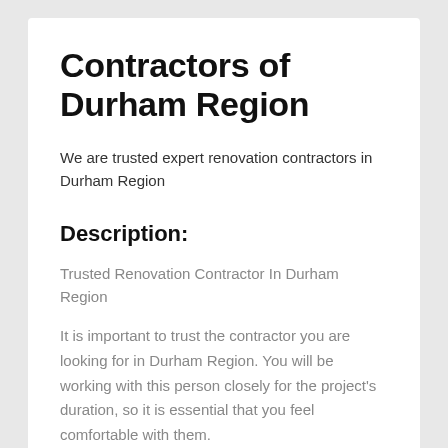Contractors of Durham Region
We are trusted expert renovation contractors in Durham Region
Description:
Trusted Renovation Contractor In Durham Region
It is important to trust the contractor you are looking for in Durham Region. You will be working with this person closely for the project's duration, so it is essential that you feel comfortable with them.
There are many types of Contractors Durham Region